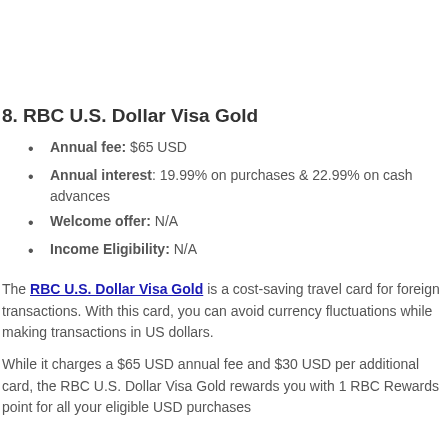8. RBC U.S. Dollar Visa Gold
Annual fee: $65 USD
Annual interest: 19.99% on purchases & 22.99% on cash advances
Welcome offer: N/A
Income Eligibility: N/A
The RBC U.S. Dollar Visa Gold is a cost-saving travel card for foreign transactions. With this card, you can avoid currency fluctuations while making transactions in US dollars.
While it charges a $65 USD annual fee and $30 USD per additional card, the RBC U.S. Dollar Visa Gold rewards you with 1 RBC Rewards point for all your eligible USD purchases